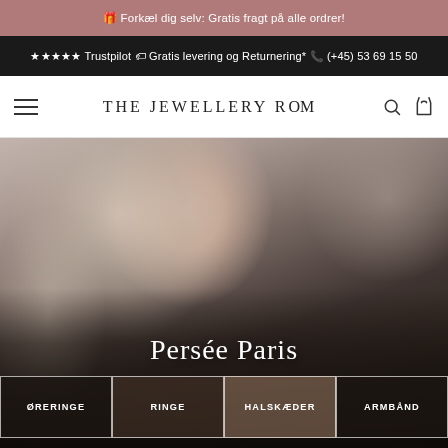🎁 Forkæl dig selv: Gratis fragt på alle ordrer!
★★★★★ Trustpilot 🏷 Gratis levering og Returnering* 📞 (+45) 53 69 15 50
THE JEWELLERY ROOM
[Figure (photo): Woman with long blonde hair wearing black outfit, photographed from shoulders up, wearing a delicate gold chain necklace]
Persée Paris
ØRERINGE
RINGE
HALSKÆDER
ARMBÅND